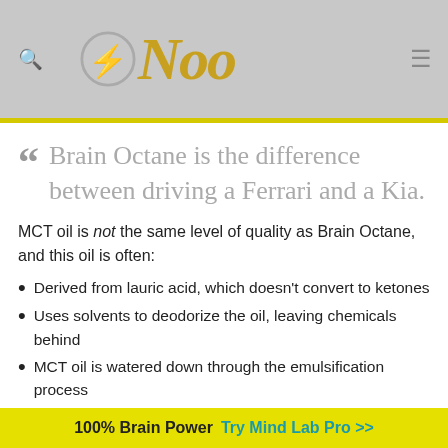Nootropic
Brain Octane is the difference between driving a Ferrari and a Kia.
MCT oil is not the same level of quality as Brain Octane, and this oil is often:
Derived from lauric acid, which doesn't convert to ketones
Uses solvents to deodorize the oil, leaving chemicals behind
MCT oil is watered down through the emulsification process
100% Brain Power  Try Mind Lab Pro >>